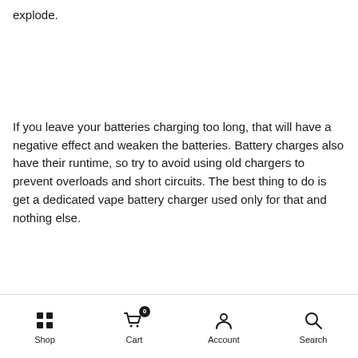explode.
If you leave your batteries charging too long, that will have a negative effect and weaken the batteries. Battery charges also have their runtime, so try to avoid using old chargers to prevent overloads and short circuits. The best thing to do is get a dedicated vape battery charger used only for that and nothing else.
Shop  Cart 0  Account  Search